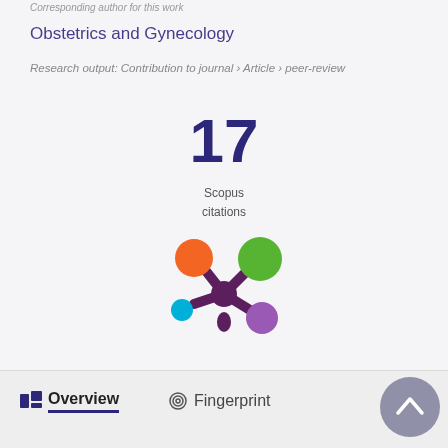Corresponding author for this work
Obstetrics and Gynecology
Research output: Contribution to journal › Article › peer-review
17
Scopus
citations
[Figure (logo): Altmetric donut/flower logo with colored circles (orange, green, light blue, purple) on a dark purple starburst center]
Overview
Fingerprint